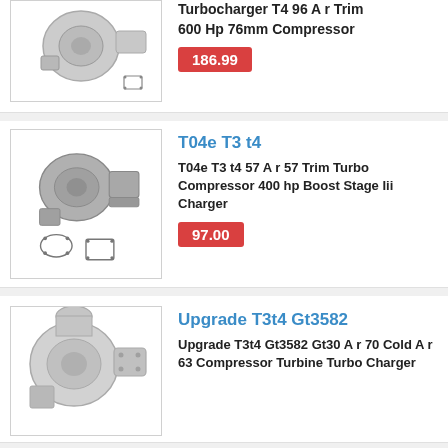Turbocharger T4 96 A r Trim 600 Hp 76mm Compressor
186.99
[Figure (photo): Turbocharger T4 product photo with gaskets]
T04e T3 t4
T04e T3 t4 57 A r 57 Trim Turbo Compressor 400 hp Boost Stage Iii Charger
97.00
[Figure (photo): T04e T3 t4 turbo compressor product photo with gaskets]
Upgrade T3t4 Gt3582
Upgrade T3t4 Gt3582 Gt30 A r 70 Cold A r 63 Compressor Turbine Turbo Charger
[Figure (photo): Upgrade T3t4 Gt3582 turbocharger product photo]